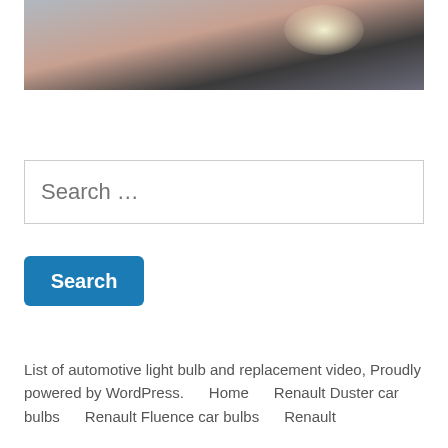[Figure (photo): Close-up photo of a car interior or automotive component, showing a hand or arm near a dark mechanical part with a bright glare/light reflection in the upper right area.]
Search …
Search
List of automotive light bulb and replacement video, Proudly powered by WordPress.      Home      Renault Duster car bulbs      Renault Fluence car bulbs      Renault